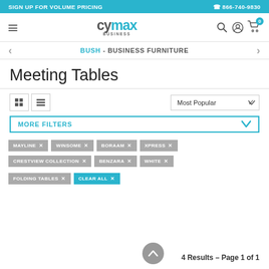SIGN UP FOR VOLUME PRICING | ☎ 866-740-9830
[Figure (logo): Cymax Business logo with hamburger menu and nav icons (search, account, cart with 0)]
BUSH - BUSINESS FURNITURE
Meeting Tables
Most Popular (sort dropdown) | Grid and List view toggle | MORE FILTERS
MAYLINE ×
WINSOME ×
BORAAM ×
XPRESS ×
CRESTVIEW COLLECTION ×
BENZARA ×
WHITE ×
FOLDING TABLES ×
CLEAR ALL ×
4 Results – Page 1 of 1